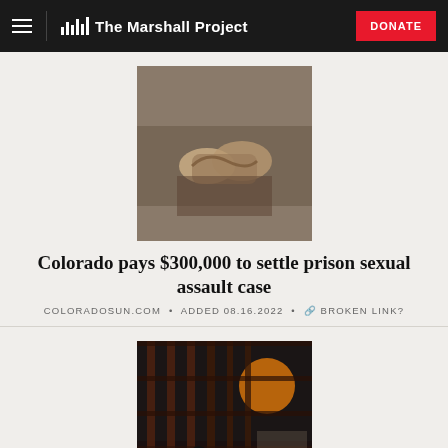The Marshall Project
[Figure (photo): Close-up photo of hands clasped together on a wooden surface, likely in a courtroom setting]
Colorado pays $300,000 to settle prison sexual assault case
COLORADOSUN.COM • ADDED 08.16.2022 • BROKEN LINK?
[Figure (illustration): Illustration of a silhouette of a person sitting hunched behind prison bars with an orange moon or sun in the background]
Inmate abuse claims at a St. Louis jail are horrific, but not unique
GRID.NEWS • ADDED 08.11.2022 • BROKEN LINK?